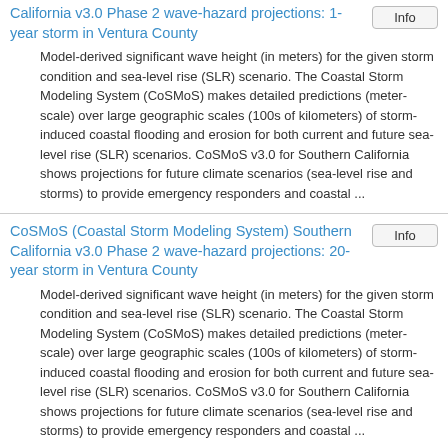California v3.0 Phase 2 wave-hazard projections: 1-year storm in Ventura County
Model-derived significant wave height (in meters) for the given storm condition and sea-level rise (SLR) scenario. The Coastal Storm Modeling System (CoSMoS) makes detailed predictions (meter-scale) over large geographic scales (100s of kilometers) of storm-induced coastal flooding and erosion for both current and future sea-level rise (SLR) scenarios. CoSMoS v3.0 for Southern California shows projections for future climate scenarios (sea-level rise and storms) to provide emergency responders and coastal ...
CoSMoS (Coastal Storm Modeling System) Southern California v3.0 Phase 2 wave-hazard projections: 20-year storm in Ventura County
Model-derived significant wave height (in meters) for the given storm condition and sea-level rise (SLR) scenario. The Coastal Storm Modeling System (CoSMoS) makes detailed predictions (meter-scale) over large geographic scales (100s of kilometers) of storm-induced coastal flooding and erosion for both current and future sea-level rise (SLR) scenarios. CoSMoS v3.0 for Southern California shows projections for future climate scenarios (sea-level rise and storms) to provide emergency responders and coastal ...